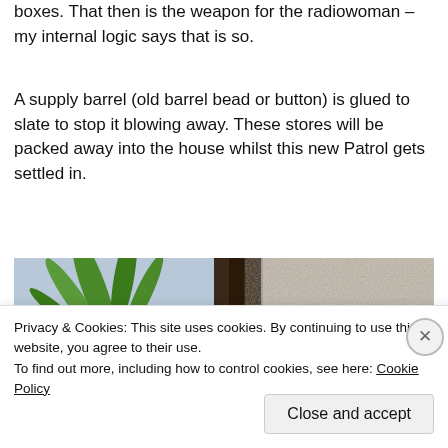boxes. That then is the weapon for the radiowoman – my internal logic says that is so.
A supply barrel (old barrel bead or button) is glued to slate to stop it blowing away. These stores will be packed away into the house whilst this new Patrol gets settled in.
[Figure (photo): Two-panel composite photo: left panel shows a blue ceramic pot with green plant leaves against a dark wooden background; right panel shows a close-up of a beige textured surface.]
Privacy & Cookies: This site uses cookies. By continuing to use this website, you agree to their use.
To find out more, including how to control cookies, see here: Cookie Policy